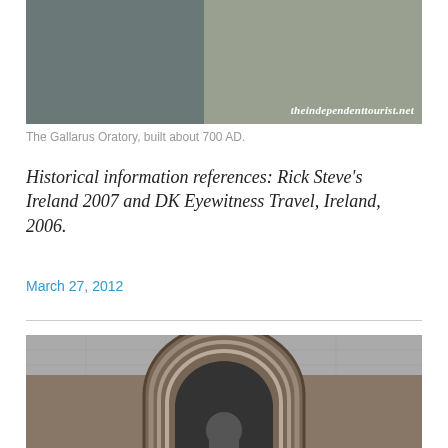[Figure (photo): Man in gray jacket standing in front of ancient stone wall structure, with watermark 'theindependenttourist.net' in white italic text at bottom right]
The Gallarus Oratory, built about 700 AD.
Historical information references: Rick Steve's Ireland 2007 and DK Eyewitness Travel, Ireland, 2006.
March 27, 2012
[Figure (photo): Stone archway entrance with decorative carved stonework, ornate Romanesque arch detail with a figure partially visible beneath]